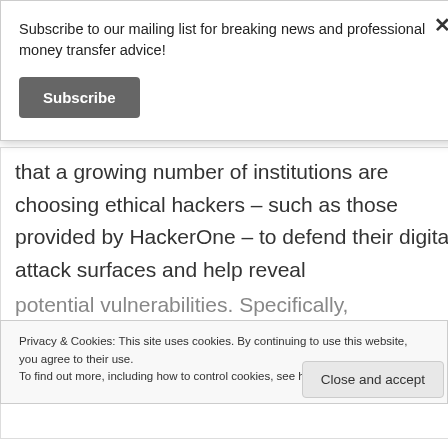Subscribe to our mailing list for breaking news and professional money transfer advice!
Subscribe
that a growing number of institutions are choosing ethical hackers – such as those provided by HackerOne – to defend their digital attack surfaces and help reveal potential vulnerabilities. Specifically,
Privacy & Cookies: This site uses cookies. By continuing to use this website, you agree to their use.
To find out more, including how to control cookies, see here: Cookie Policy
Close and accept